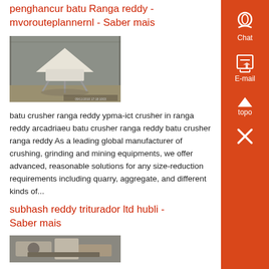penghancur batu Ranga reddy - mvorouteplannernl - Saber mais
[Figure (photo): Indoor photo of a large conical white hopper/silo structure on legs inside a warehouse or industrial building with corrugated metal walls.]
batu crusher ranga reddy ypma-ict crusher in ranga reddy arcadriaeu batu crusher ranga reddy batu crusher ranga reddy As a leading global manufacturer of crushing, grinding and mining equipments, we offer advanced, reasonable solutions for any size-reduction requirements including quarry, aggregate, and different kinds of...
subhash reddy triturador ltd hubli - Saber mais
[Figure (photo): Partial view of industrial machinery or equipment, appears to be a stone crusher or related equipment.]